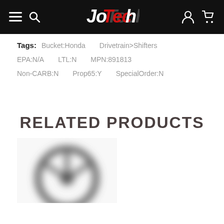JoTech logo navigation bar with hamburger menu, search, user, and cart icons
Tags:  Bucket:Honda   Drivetrain>Shifters   EPA:N/A   LTL:N   MPN:891813   Non-CARB:N   Prop65:Y   SpecialOrder:N
RELATED PRODUCTS
[Figure (photo): Blurred product image showing a steering wheel or similar circular automotive component]